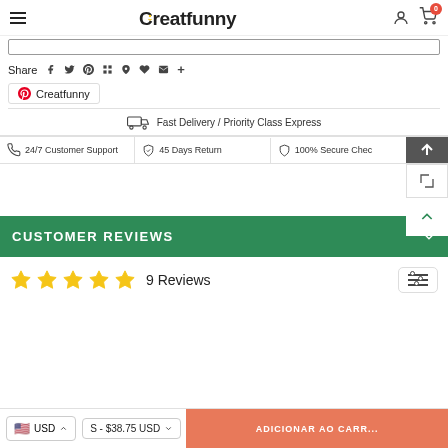Creatfunny
Share
[Figure (logo): Pinterest Creatfunny badge]
Fast Delivery / Priority Class Express
24/7 Customer Support   45 Days Return   100% Secure Chec...
CUSTOMER REVIEWS
9 Reviews
USD   S - $38.75 USD
ADICIONAR AO CARR...